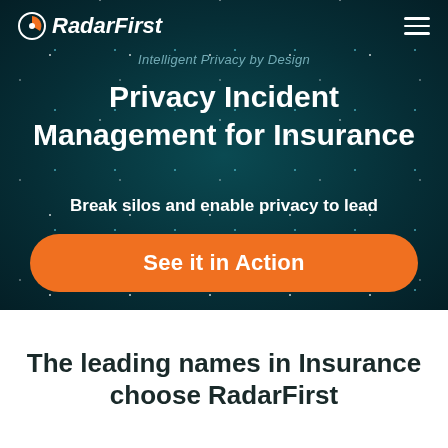RadarFirst — Intelligent Privacy by Design
Privacy Incident Management for Insurance
Break silos and enable privacy to lead
See it in Action
The leading names in Insurance choose RadarFirst